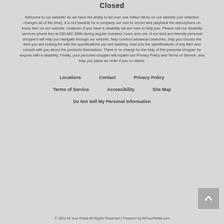Closed
Welcome to our website! As we have the ability to list over one million items on our website (our selection changes all of the time), it is not feasible for a company our size to record and playback the descriptions on every item on our website. However, if you have a disability we are here to help you. Please call our disability services phone line at 530-662-3996 during regular business hours and one of our kind and friendly personal shoppers will help you navigate through our website, help conduct advanced searches, help you choose the item you are looking for with the specifications you are seeking, read you the specifications of any item and consult with you about the products themselves. There is no charge for the help of this personal shopper for anyone with a disability. Finally, your personal shopper will explain our Privacy Policy and Terms of Service, and help you place an order if you so desire.
Locations
Contact
Privacy Policy
Terms of Service
Accessibility
Site Map
Do Not Sell My Personal Information
© 2022 All Your Retail All Rights Reserved | Powered by AllYourRetail.com